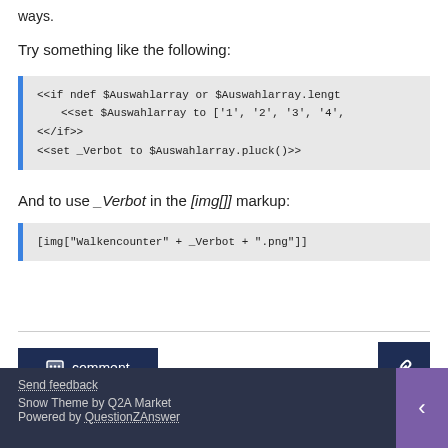ways.
Try something like the following:
[Figure (screenshot): Code block showing <<if ndef $Auswahlarray or $Auswahlarray.lengt   <<set $Auswahlarray to ['1', '2', '3', '4', <</if>> <<set _Verbot to $Auswahlarray.pluck()>>]
And to use _Verbot in the [img[]] markup:
[Figure (screenshot): Code block showing [img["Walkencounter" + _Verbot + ".png"]]]
Send feedback
Snow Theme by Q2A Market
Powered by QuestionZAnswer